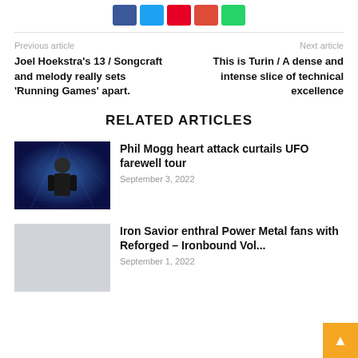[Figure (other): Row of social media share buttons: Facebook (blue), Twitter (light blue), Pinterest (red), Google/Email (red-orange), WhatsApp (green)]
Previous article
Joel Hoekstra's 13 / Songcraft and melody really sets 'Running Games' apart.
Next article
This is Turin / A dense and intense slice of technical excellence
RELATED ARTICLES
[Figure (photo): Photo of Phil Mogg on stage with blue background lighting]
Phil Mogg heart attack curtails UFO farewell tour
September 3, 2022
[Figure (photo): Gray placeholder thumbnail image]
Iron Savior enthral Power Metal fans with Reforged – Ironbound Vol...
September 1, 2022